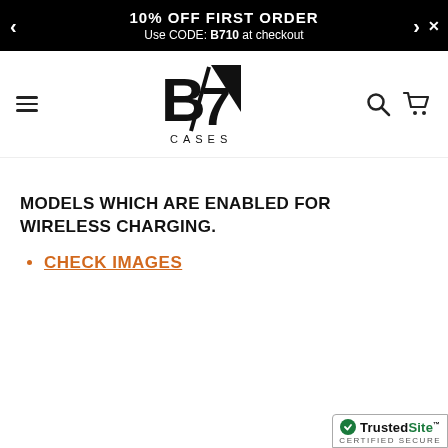10% OFF FIRST ORDER Use CODE: B710 at checkout
[Figure (logo): B7 Cases logo — stylized B and 7 with lightning bolt shape, CASES text below]
MODELS WHICH ARE ENABLED FOR WIRELESS CHARGING.
CHECK IMAGES
[Figure (logo): TrustedSite Certified Secure badge]